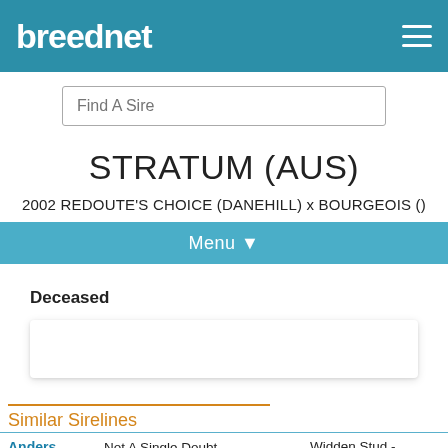breednet
Find A Sire
STRATUM (AUS)
2002 REDOUTE'S CHOICE (DANEHILL) x BOURGEOIS ()
Menu ▼
Deceased
Similar Sirelines
| Name | Pedigree | Stud/Price |
| --- | --- | --- |
| Anders | Not A Single Doubt - Redoute's Choice | Widden Stud - $16,500 |
| Dundthorpe | Not A Single Doubt - | Widden Stud - $16,500 |